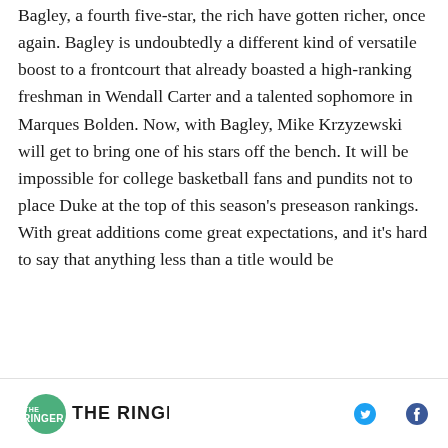Bagley, a fourth five-star, the rich have gotten richer, once again. Bagley is undoubtedly a different kind of versatile boost to a frontcourt that already boasted a high-ranking freshman in Wendall Carter and a talented sophomore in Marques Bolden. Now, with Bagley, Mike Krzyzewski will get to bring one of his stars off the bench. It will be impossible for college basketball fans and pundits not to place Duke at the top of this season's preseason rankings. With great additions come great expectations, and it's hard to say that anything less than a title would be
[Figure (logo): The Ringer logo - circle with THE RINGER text]